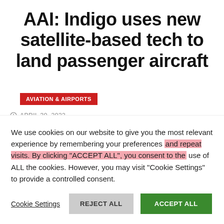AAI: Indigo uses new satellite-based tech to land passenger aircraft
AVIATION & AIRPORTS
APRIL 30, 2022
We use cookies on our website to give you the most relevant experience by remembering your preferences and repeat visits. By clicking "ACCEPT ALL", you consent to the use of ALL the cookies. However, you may visit "Cookie Settings" to provide a controlled consent.
Cookie Settings  REJECT ALL  ACCEPT ALL